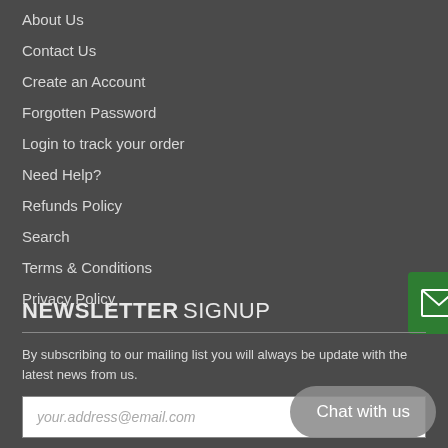About Us
Contact Us
Create an Account
Forgotten Password
Login to track your order
Need Help?
Refunds Policy
Search
Terms & Conditions
Privacy Policy
NEWSLETTER SIGNUP
By subscribing to our mailing list you will always be update with the latest news from us.
your.address@email.com
[Figure (other): Green envelope/email icon button on right edge]
Chat with us